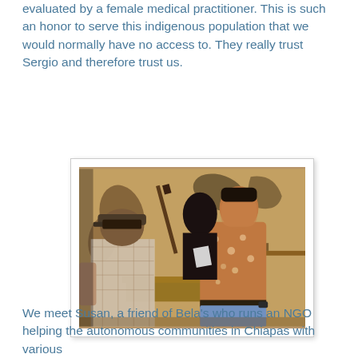evaluated by a female medical practitioner. This is such an honor to serve this indigenous population that we would normally have no access to. They really trust Sergio and therefore trust us.
[Figure (photo): Indoor scene showing two or three people, one shirtless man with skin lesions being examined, another man with a cap and plaid shirt facing away, and a third figure in the background. The room has animal hides and a rifle visible on the yellow wall.]
We meet Susan, a friend of Bela's who runs an NGO helping the autonomous communities in Chiapas with various